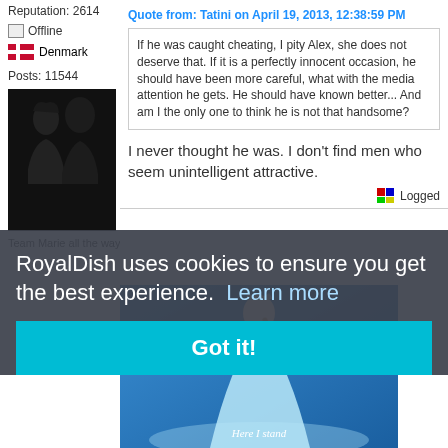Reputation: 2614
Offline
Denmark
Posts: 11544
[Figure (photo): Silhouette profile photo of two people facing right]
Team Marie all the way
Quote from: Tatini on April 19, 2013, 12:38:59 PM
If he was caught cheating, I pity Alex, she does not deserve that. If it is a perfectly innocent occasion, he should have been more careful, what with the media attention he gets. He should have known better... And am I the only one to think he is not that handsome?
I never thought he was. I don't find men who seem unintelligent attractive.
Logged
[Figure (photo): Screenshot of a blue-dressed animated character (Elsa from Frozen) with text 'Here I stand']
RoyalDish uses cookies to ensure you get the best experience.  Learn more
Got it!